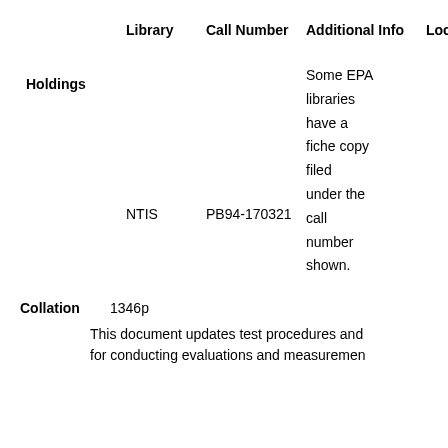|  | Library | Call Number | Additional Info | Location |
| --- | --- | --- | --- | --- |
| Holdings | NTIS | PB94-170321 | Some EPA libraries have a fiche copy filed under the call number shown. |  |
Collation   1346p
This document updates test procedures and for conducting evaluations and measurements